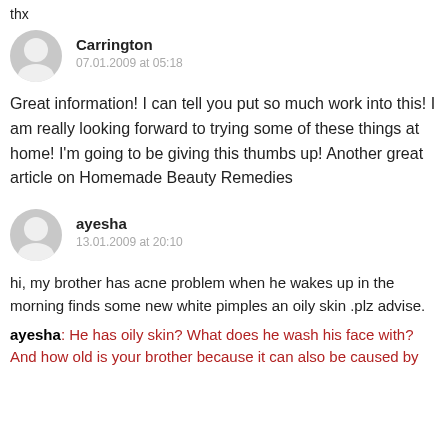thx
Carrington
07.01.2009 at 05:18
Great information! I can tell you put so much work into this! I am really looking forward to trying some of these things at home! I'm going to be giving this thumbs up! Another great article on Homemade Beauty Remedies
ayesha
13.01.2009 at 20:10
hi, my brother has acne problem when he wakes up in the morning finds some new white pimples an oily skin .plz advise.
ayesha: He has oily skin? What does he wash his face with? And how old is your brother because it can also be caused by